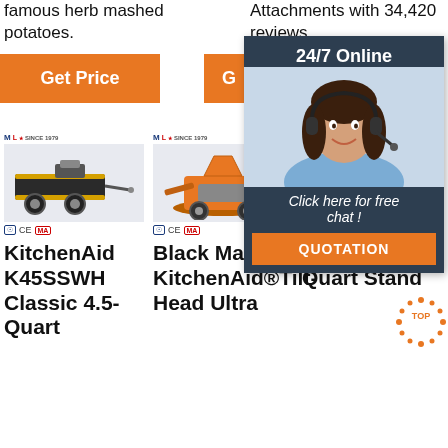famous herb mashed potatoes.
Attachments with 34,420 reviews.
Get Price
G
[Figure (infographic): 24/7 Online chat overlay with female agent wearing headset, dark navy background, orange QUOTATION button, text: Click here for free chat!]
[Figure (photo): Industrial machine on trailer - black mobile unit with wheels, MLS since 1979 logo]
[Figure (photo): Orange industrial mixing/plastering machine, MLS since 1979 logo]
[Figure (photo): Partially obscured machine product image, MLS logo]
KitchenAid K45SSWH Classic 4.5-Quart
Black Matte KitchenAid®Tilt-Head Ultra
Ice Deluxe 4.5 Quart Stand